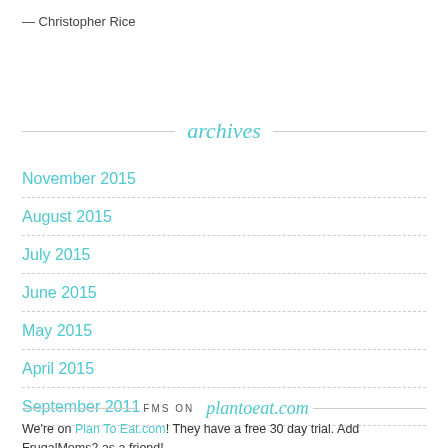— Christopher Rice
archives
November 2015
August 2015
July 2015
June 2015
May 2015
April 2015
September 2011
FMS ON plantoeat.com
We're on Plan To Eat.com! They have a free 30 day trial. Add FrugalMoms2 as a friend!